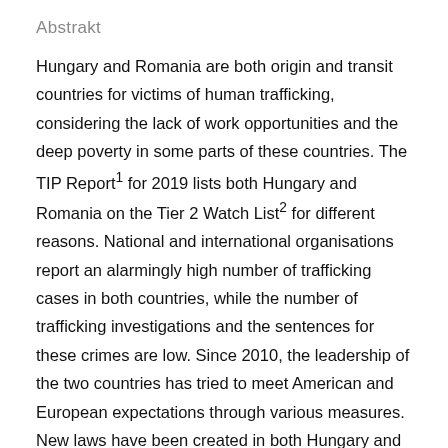Abstrakt
Hungary and Romania are both origin and transit countries for victims of human trafficking, considering the lack of work opportunities and the deep poverty in some parts of these countries. The TIP Report1 for 2019 lists both Hungary and Romania on the Tier 2 Watch List2 for different reasons. National and international organisations report an alarmingly high number of trafficking cases in both countries, while the number of trafficking investigations and the sentences for these crimes are low. Since 2010, the leadership of the two countries has tried to meet American and European expectations through various measures. New laws have been created in both Hungary and Romania, and there are numerous regulations that deal with victims of trafficking in human beings (hereinafter: THB). This desk